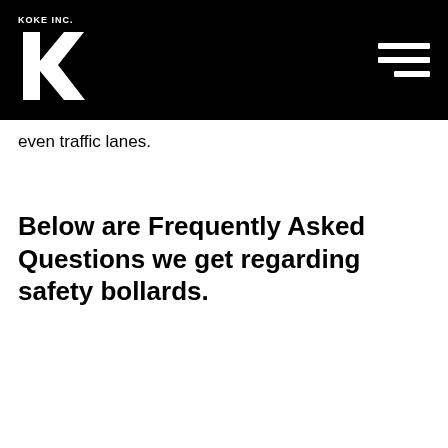KOKE INC.
even traffic lanes.
Below are Frequently Asked Questions we get regarding safety bollards.